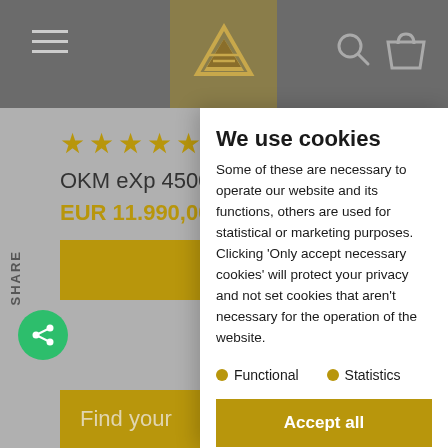[Figure (screenshot): Website background showing navigation bar with hamburger menu, logo in gold box, product page for OKM eXp 4500 Light with 5 gold stars, price EUR 11,990.00 PLUS, gold action bar, SHARE label, green share icon, and Find your bar at bottom. A cookie consent modal overlays the right portion.]
We use cookies
Some of these are necessary to operate our website and its functions, others are used for statistical or marketing purposes. Clicking 'Only accept necessary cookies' will protect your privacy and not set cookies that aren't necessary for the operation of the website.
Functional
Statistics
Accept all
Only accept functional cookies